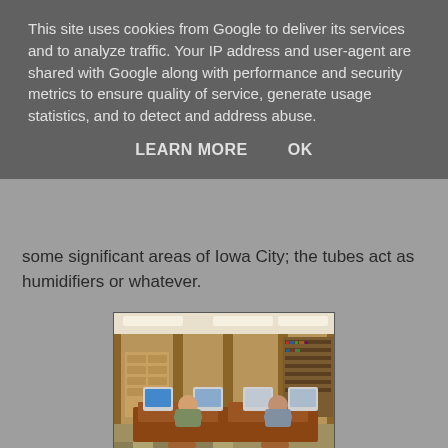some significant areas of Iowa City; the tubes act as humidifiers or whatever.
[Figure (photo): Interior of a library with people sitting at computer terminals at wooden desks, bookshelves and card catalog cabinets visible in the background.]
Really, I did not catch his explanation because he spoke in rapid drawl, almost like he rapped, but I nod, not wishing to appear muddled.
This site uses cookies from Google to deliver its services and to analyze traffic. Your IP address and user-agent are shared with Google along with performance and security metrics to ensure quality of service, generate usage statistics, and to detect and address abuse.
LEARN MORE   OK